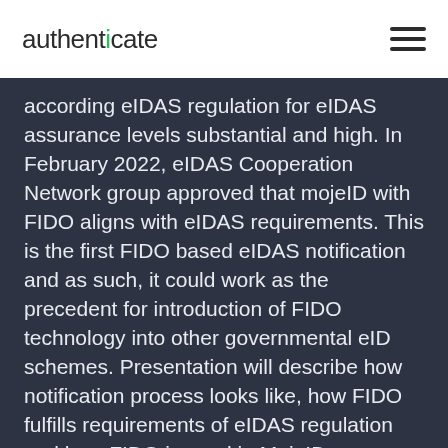authenticate
according eIDAS regulation for eIDAS assurance levels substantial and high. In February 2022, eIDAS Cooperation Network group approved that mojeID with FIDO aligns with eIDAS requirements. This is the first FIDO based eIDAS notification and as such, it could work as the precedent for introduction of FIDO technology into other governmental eID schemes. Presentation will describe how notification process looks like, how FIDO fulfills requirements of eIDAS regulation and how FIDO is used in MojeID.